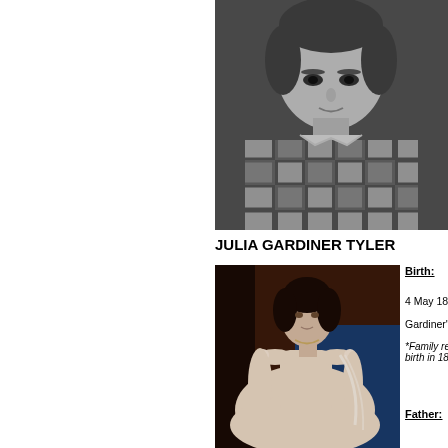[Figure (photo): Black and white portrait photograph of a woman wearing a plaid/checkered top, shown from the shoulders up, with dark background]
JULIA GARDINER TYLER
[Figure (photo): Color painting/portrait of Julia Gardiner Tyler seated, wearing a white off-shoulder dress with floral details, with blue and dark background]
Birth:
4 May 182...
Gardiner's...
*Family rec... birth in 182...
Father: